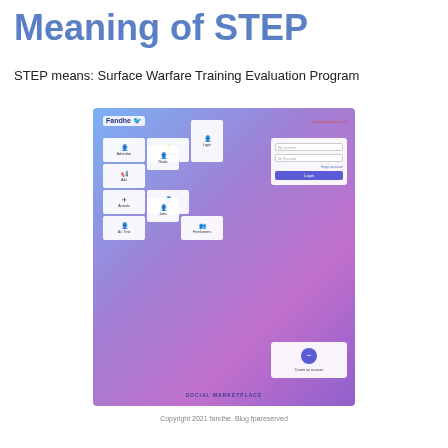Meaning of STEP
STEP means: Surface Warfare Training Evaluation Program
[Figure (screenshot): Screenshot of a social marketplace web application called 'Fandhe' with a blue-to-purple gradient background, navigation tiles, a login form panel, and a secondary panel with a circle button. Bottom reads 'SOCIAL MARKETPLACE'.]
Copyright 2021 fandhe. Blog fpareserved
Copyrights © 2016 AcronymsMeanings. All Rights Reserved.